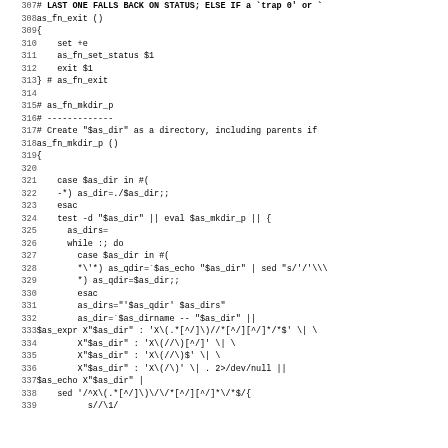[Figure (screenshot): Shell script source code lines 307-339 showing as_fn_exit and as_fn_mkdir_p function definitions in a monospace code viewer]